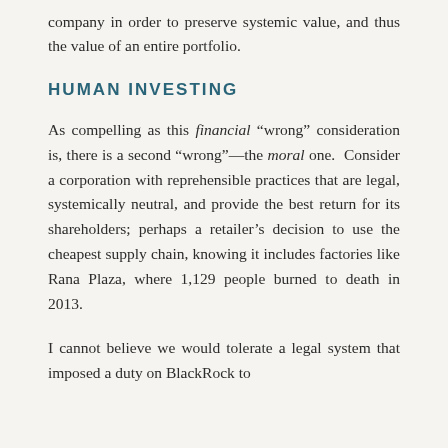company in order to preserve systemic value, and thus the value of an entire portfolio.
HUMAN INVESTING
As compelling as this financial “wrong” consideration is, there is a second “wrong”—the moral one. Consider a corporation with reprehensible practices that are legal, systemically neutral, and provide the best return for its shareholders; perhaps a retailer’s decision to use the cheapest supply chain, knowing it includes factories like Rana Plaza, where 1,129 people burned to death in 2013.
I cannot believe we would tolerate a legal system that imposed a duty on BlackRock to